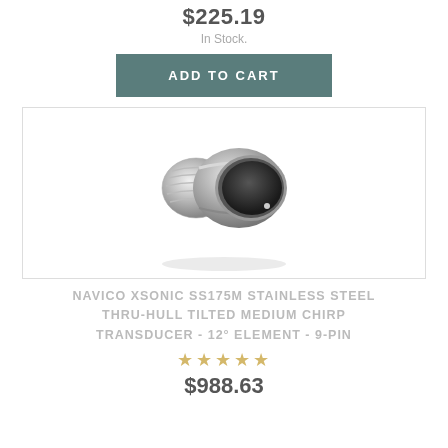$225.19
In Stock.
ADD TO CART
[Figure (photo): Navico Xsonic SS175M stainless steel thru-hull transducer product photo showing a round stainless steel cylindrical transducer with a black sensor face]
NAVICO XSONIC SS175M STAINLESS STEEL THRU-HULL TILTED MEDIUM CHIRP TRANSDUCER - 12° ELEMENT - 9-PIN
★★★★★
$988.63